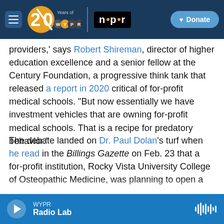[Figure (screenshot): WYPR 20 Years navigation bar with hamburger menu, WYPR 20th anniversary logo, NPR logo, and Donate button on dark blue background]
providers,' says Robert Shireman, director of higher education excellence and a senior fellow at the Century Foundation, a progressive think tank that released a report in 2020 critical of for-profit medical schools. "But now essentially we have investment vehicles that are owning for-profit medical schools. That is a recipe for predatory behavior."
The debate landed on Dr. Paul Dolan's turf when he read in the Billings Gazette on Feb. 23 that a for-profit institution, Rocky Vista University College of Osteopathic Medicine, was planning to open a
[Figure (screenshot): WYPR audio player bar at bottom showing play button, station name WYPR, show name Radio Lab, and waveform icon]